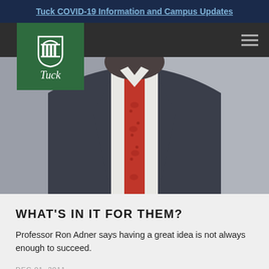Tuck COVID-19 Information and Campus Updates
[Figure (photo): Man in dark blue suit with red tie, cropped at chest level, with Tuck School of Business logo overlay in top left]
WHAT'S IN IT FOR THEM?
Professor Ron Adner says having a great idea is not always enough to succeed.
DEC 01, 2011